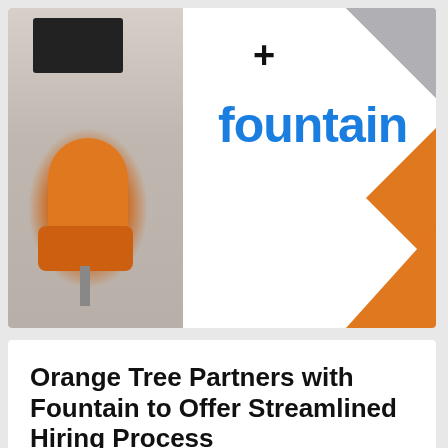[Figure (photo): Office scene with orange chair, desk, and monitor on left side; plus sign and Fountain logo in blue on right; orange arrow chevron decoration on far right with gray triangle corner]
Orange Tree Partners with Fountain to Offer Streamlined Hiring Process
Orange Tree Employment Screening, a leader in the global background screening industry, has...
[Figure (logo): Orange Tree logo text partially visible at bottom, with orange up-arrow circular button and orange decorative strips]